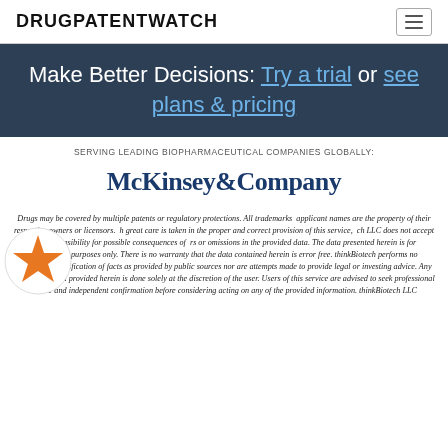DRUGPATENTWATCH
Make Better Decisions: Try a trial or see plans & pricing
SERVING LEADING BIOPHARMACEUTICAL COMPANIES GLOBALLY:
[Figure (logo): McKinsey & Company logo in dark blue serif font]
Drugs may be covered by multiple patents or regulatory protections. All trademarks applicant names are the property of their respective owners or licensors. With great care is taken in the proper and correct provision of this service, thinkBiotech LLC does not accept any responsibility for possible consequences of errors or omissions in the provided data. The data presented herein is for information purposes only. There is no warranty that the data contained herein is error free. thinkBiotech performs no independent verification of facts as provided by public sources nor are attempts made to provide legal or investing advice. Any reliance on data provided herein is done solely at the discretion of the user. Users of this service are advised to seek professional advice and independent confirmation before considering acting on any of the provided information. thinkBiotech LLC